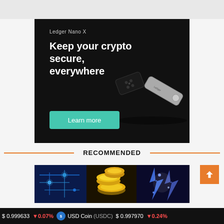[Figure (illustration): Ledger Nano X advertisement. Dark background with two hardware crypto wallets (black Nano X and silver Nano X). Text: 'Ledger Nano X', 'Keep your crypto secure, everywhere'. Teal 'Learn more' button.]
RECOMMENDED
[Figure (photo): Recommended content preview images: cryptocurrency-themed collage with blue digital/blockchain imagery, golden coins, and electric lightning effects.]
$ 0.999633  ↓0.07%  USD Coin (USDC)  $ 0.997970  ↓0.24%